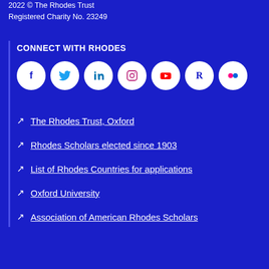2022 © The Rhodes Trust
Registered Charity No. 23249
CONNECT WITH RHODES
[Figure (infographic): Row of social media icon circles: Facebook, Twitter, LinkedIn, Instagram, YouTube, Rhodes (R), Flickr]
The Rhodes Trust, Oxford
Rhodes Scholars elected since 1903
List of Rhodes Countries for applications
Oxford University
Association of American Rhodes Scholars